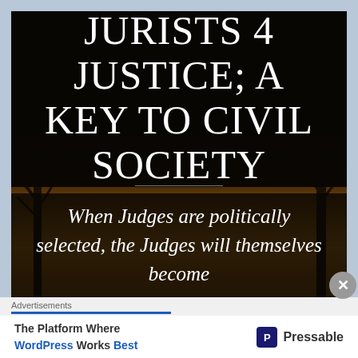[Figure (illustration): Dark background image with autumn trees, overlaid with large white serif text reading 'JURISTS 4 JUSTICE; A KEY TO CIVIL SOCIETY' and a subtitle 'When Judges are politically selected, the Judges will themselves become']
JURISTS 4 JUSTICE; A KEY TO CIVIL SOCIETY
When Judges are politically selected, the Judges will themselves become
Advertisements
The Platform Where WordPress Works Best | Pressable